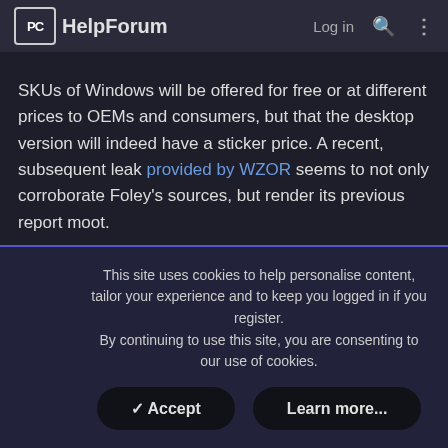PC HelpForum — Log in
SKUs of Windows will be offered for free or at different prices to OEMs and consumers, but that the desktop version will indeed have a sticker price. A recent, subsequent leak provided by WZOR seems to not only corroborate Foley's sources, but render its previous report moot.
Microsoft has learnt to be flexible though given the changing business environment. Google's Chrome OS was barely a blip on Microsoft's radar when Windows 8 launched. Now it is seen as a growing threat to Microsoft's low-end market, so much so that it is giving Windows 8.1 for free on devices sporting an 8-inch (or smaller) display.
This site uses cookies to help personalise content, tailor your experience and to keep you logged in if you register.
By continuing to use this site, you are consenting to our use of cookies.